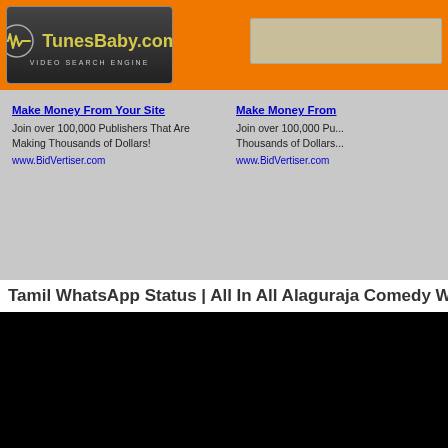[Figure (logo): TunesBaby.com video search engine logo on orange header bar with dark logo box containing waveform icon and yellow site name text]
Make Money From Your Site
Join over 100,000 Publishers That Are Making Thousands of Dollars!
www.BidVertiser.com
Make Money From
Join over 100,000 Pu...
Thousands of Dollars...
www.BidVertiser.com
Tamil WhatsApp Status | All In All Alaguraja Comedy WhatsA
[Figure (screenshot): Black video player area]